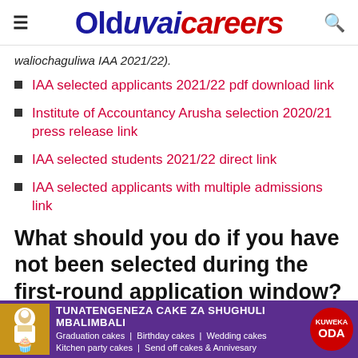Olduvaicareers
waliochaguliwa IAA 2021/22).
IAA selected applicants 2021/22 pdf download link
Institute of Accountancy Arusha selection 2020/21 press release link
IAA selected students 2021/22 direct link
IAA selected applicants with multiple admissions link
What should you do if you have not been selected during the first-round application window?
In case you have not been selected during the first-
[Figure (infographic): Advertisement banner for a cake business: purple background, chef icon on left, text 'TUNATENGENEZA CAKE ZA SHUGHULI MBALIMBALI' in bold white, subtext 'Graduation cakes | Birthday cakes | Wedding cakes Kitchen party cakes | Send off cakes & Annivesary', red circular badge on right with 'KUWEKA ODA']